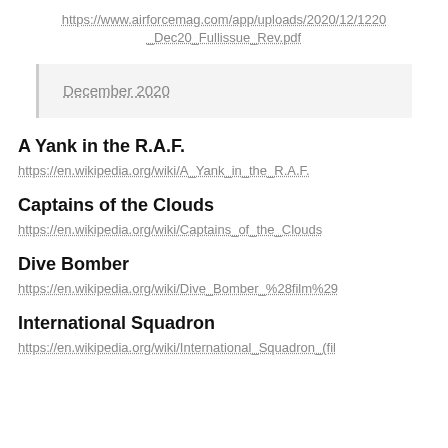https://www.airforcemag.com/app/uploads/2020/12/1220_Dec20_Fullissue_Rev.pdf
December 2020
A Yank in the R.A.F.
https://en.wikipedia.org/wiki/A_Yank_in_the_R.A.F.
Captains of the Clouds
https://en.wikipedia.org/wiki/Captains_of_the_Clouds
Dive Bomber
https://en.wikipedia.org/wiki/Dive_Bomber_%28film%29
International Squadron
https://en.wikipedia.org/wiki/International_Squadron_(fil